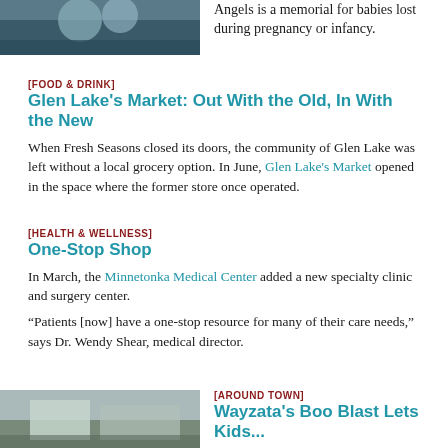[Figure (photo): Photo of flowers or memorial scene at top left]
Angels is a memorial for babies lost during pregnancy or infancy.
[FOOD & DRINK]
Glen Lake's Market: Out With the Old, In With the New
When Fresh Seasons closed its doors, the community of Glen Lake was left without a local grocery option. In June, Glen Lake's Market opened in the space where the former store once operated.
[HEALTH & WELLNESS]
One-Stop Shop
In March, the Minnetonka Medical Center added a new specialty clinic and surgery center.
“Patients [now] have a one-stop resource for many of their care needs,” says Dr. Wendy Shear, medical director.
[Figure (photo): Photo of a building or outdoor market scene at bottom left]
[AROUND TOWN]
Wayzata's Boo Blast Lets Kids...